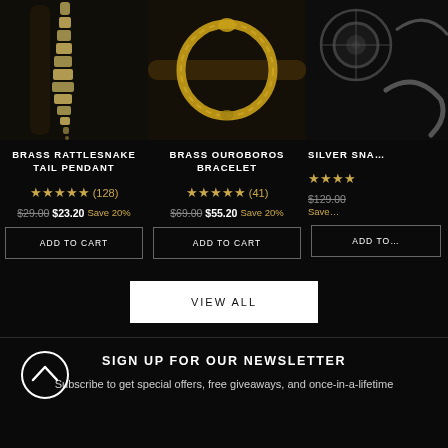[Figure (photo): Brass Rattlesnake Tail Pendant product photo, dark background]
BRASS RATTLESNAKE TAIL PENDANT
★★★★★ (128)
$29.00  $23.20  Save 20%
ADD TO CART
[Figure (photo): Brass Ouroboros Bracelet product photo, circular bracelet on dark background]
BRASS OUROBOROS BRACELET
★★★★★ (41)
$69.00  $55.20  Save 20%
ADD TO CART
[Figure (photo): Silver Snake product photo, partial view, dark background]
SILVER SNA...
★★★★ (partial)
$129.00  Save...
ADD TO...
VIEW ALL
SIGN UP FOR OUR NEWSLETTER
Subscribe to get special offers, free giveaways, and once-in-a-lifetime